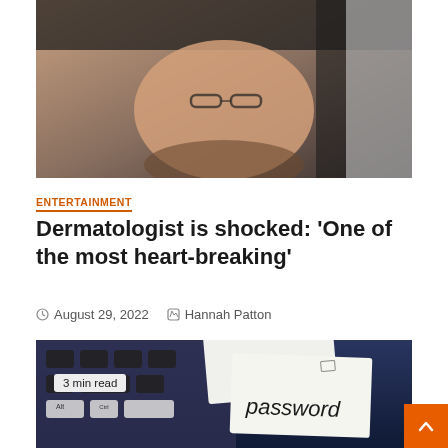[Figure (photo): A person leaning back with head tilted, wearing glasses and dark clothing, photographed from a low angle against a light background.]
ENTERTAINMENT
Dermatologist is shocked: ‘One of the most heart-breaking’
August 29, 2022   Hannah Patton
[Figure (photo): A keyboard with white paper notes. One note has 'password' written in handwriting. Dark blue background.]
3 min read